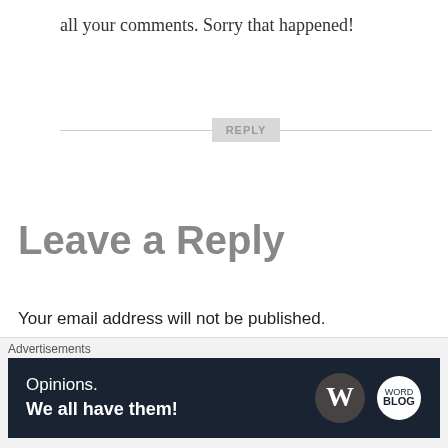all your comments. Sorry that happened!
REPLY
Leave a Reply
Your email address will not be published. Required fields are marked *
COMMENT *
[Figure (other): Close/X button icon]
Advertisements
[Figure (infographic): Advertisement banner: 'Opinions. We all have them!' with WordPress and another logo on dark navy background]